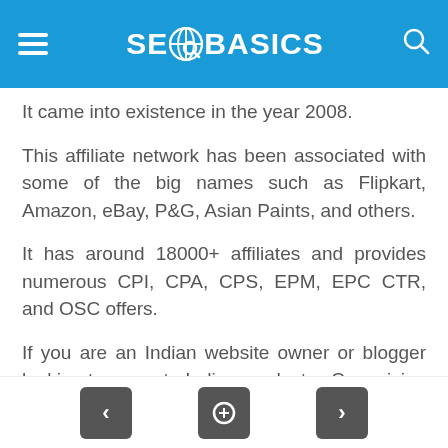SEO BASICS
It came into existence in the year 2008.
This affiliate network has been associated with some of the big names such as Flipkart, Amazon, eBay, P&G, Asian Paints, and others.
It has around 18000+ affiliates and provides numerous CPI, CPA, CPS, EPM, EPC CTR, and OSC offers.
If you are an Indian website owner or blogger looking to promote Indian products vCommision should be your first choice.